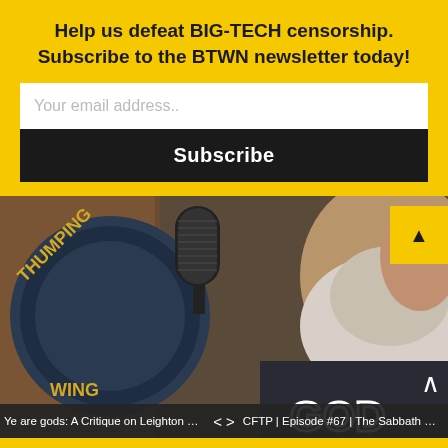Help us defeat BIG-TECH censorship. Subscribe to the BTWN newsletter today!
[Figure (screenshot): Email subscription form with white input field labeled 'Your email address..' and a black 'Subscribe' button below it, on a yellow background]
[Figure (photo): A man with a white beard wearing a dark t-shirt with 'GOD' printed on it, sitting in front of a microphone with 'THUMPING WING' text visible on a circular logo. Photo is partially cropped.]
Ye are gods: A Critique on Leighton Flowe... < > CFTP | Episode #67 | The Sabbath Debate...